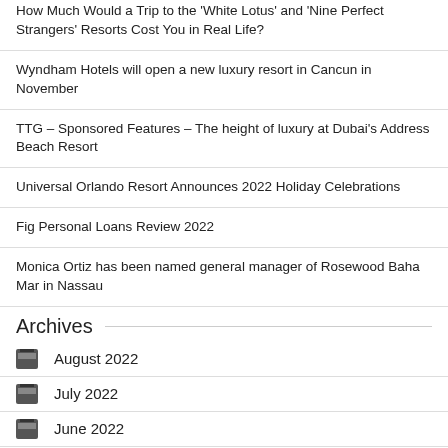How Much Would a Trip to the 'White Lotus' and 'Nine Perfect Strangers' Resorts Cost You in Real Life?
Wyndham Hotels will open a new luxury resort in Cancun in November
TTG – Sponsored Features – The height of luxury at Dubai's Address Beach Resort
Universal Orlando Resort Announces 2022 Holiday Celebrations
Fig Personal Loans Review 2022
Monica Ortiz has been named general manager of Rosewood Baha Mar in Nassau
Archives
August 2022
July 2022
June 2022
May 2022